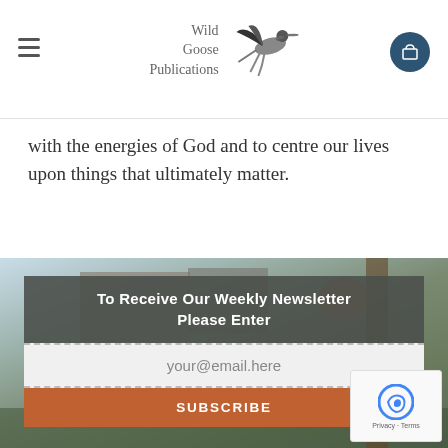Wild Goose Publications
with the energies of God and to centre our lives upon things that ultimately matter.
[Figure (screenshot): Newsletter subscription form overlaid on a coastal/waterfront photo background with a rusted shed and vegetation. Header reads 'To Receive Our Weekly Newsletter Please Enter', below is an email input field with placeholder 'your@email.here', and a brown Subscribe button.]